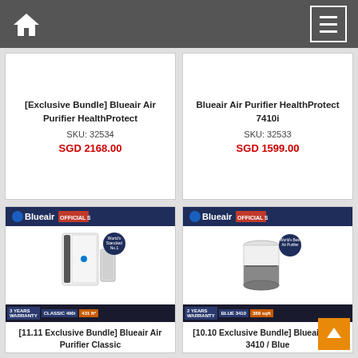Navigation bar with home and menu icons
[Exclusive Bundle] Blueair Air Purifier HealthProtect
SKU: 32534
SGD 2168.00
Blueair Air Purifier HealthProtect 7410i
SKU: 32533
SGD 1599.00
[Figure (photo): Blueair Classic 490i air purifier product image with Official Store banner and specs bar showing 3 YEARS WARRANTY, CLASSIC 490i, 431 ft²]
[11.11 Exclusive Bundle] Blueair Air Purifier Classic
SKU: 32337
SGD 1499.00
[Figure (photo): Blueair Blue 3410 air purifier product image with Official Store banner and specs bar showing 2 YEARS WARRANTY, BLUE 3410, 388 sqft]
[10.10 Exclusive Bundle] Blueair Blue 3410 / Blue
SKU: 32254
SGD 679.00